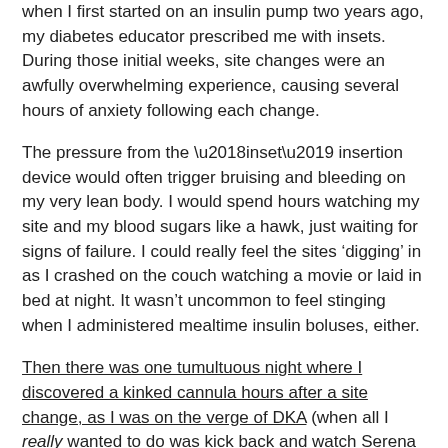when I first started on an insulin pump two years ago, my diabetes educator prescribed me with insets. During those initial weeks, site changes were an awfully overwhelming experience, causing several hours of anxiety following each change.
The pressure from the ‘inset’ insertion device would often trigger bruising and bleeding on my very lean body. I would spend hours watching my site and my blood sugars like a hawk, just waiting for signs of failure. I could really feel the sites ‘digging’ in as I crashed on the couch watching a movie or laid in bed at night. It wasn’t uncommon to feel stinging when I administered mealtime insulin boluses, either.
Then there was one tumultuous night where I discovered a kinked cannula hours after a site change, as I was on the verge of DKA (when all I really wanted to do was kick back and watch Serena Williams play in Wimbledon).